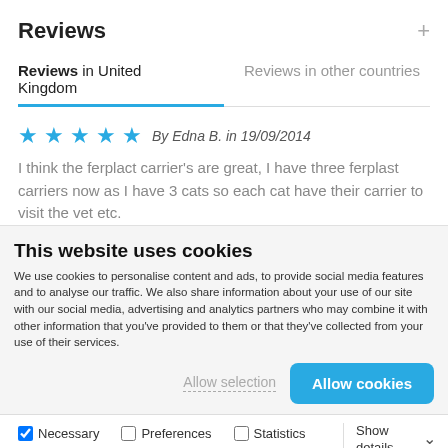Reviews
Reviews in United Kingdom
Reviews in other countries
By Edna B. in 19/09/2014
I think the ferplact carrier's are great, I have three ferplast carriers now as I have 3 cats so each cat have their carrier to visit the vet etc.
This website uses cookies
We use cookies to personalise content and ads, to provide social media features and to analyse our traffic. We also share information about your use of our site with our social media, advertising and analytics partners who may combine it with other information that you've provided to them or that they've collected from your use of their services.
Allow selection
Allow cookies
Necessary  Preferences  Statistics  Marketing  Show details